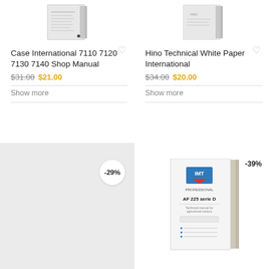[Figure (photo): Product image of Case International 7110 7120 7130 7140 Shop Manual book, top-left]
[Figure (photo): Product image of Hino Technical White Paper International book, top-right]
Case International 7110 7120 7130 7140 Shop Manual
$31.00 $21.00
Show more
Hino Technical White Paper International
$34.00 $20.00
Show more
[Figure (photo): Bottom-left product placeholder image, gray background, -29% discount badge]
[Figure (photo): Bottom-right IMT AF 225 serie D product manual book image, -39% discount badge]